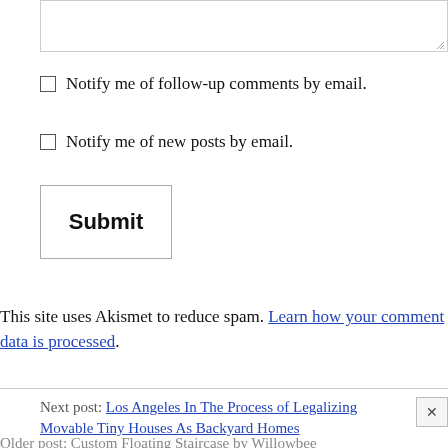Notify me of follow-up comments by email.
Notify me of new posts by email.
Submit
This site uses Akismet to reduce spam. Learn how your comment data is processed.
Next post: Los Angeles In The Process of Legalizing Movable Tiny Houses As Backyard Homes
Older post: Custom Floating Staircase by Willowbee